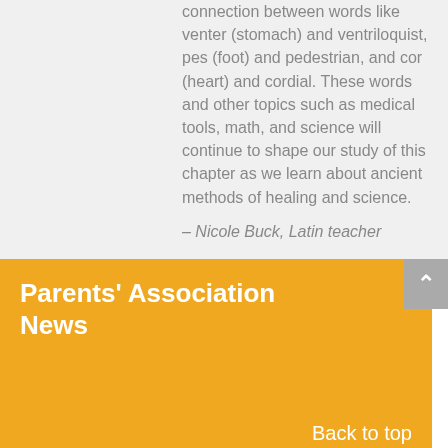connection between words like venter (stomach) and ventriloquist, pes (foot) and pedestrian, and cor (heart) and cordial. These words and other topics such as medical tools, math, and science will continue to shape our study of this chapter as we learn about ancient methods of healing and science.
– Nicole Buck, Latin teacher
Parents' Association News
Back to top